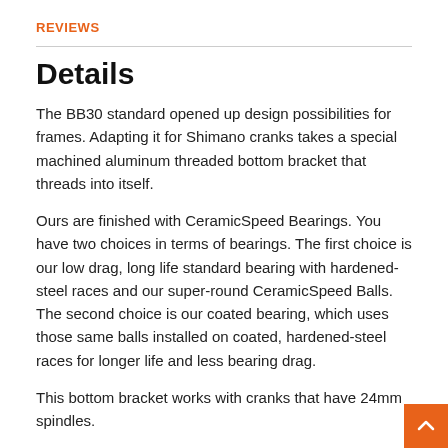REVIEWS
Details
The BB30 standard opened up design possibilities for frames. Adapting it for Shimano cranks takes a special machined aluminum threaded bottom bracket that threads into itself.
Ours are finished with CeramicSpeed Bearings. You have two choices in terms of bearings. The first choice is our low drag, long life standard bearing with hardened-steel races and our super-round CeramicSpeed Balls. The second choice is our coated bearing, which uses those same balls installed on coated, hardened-steel races for longer life and less bearing drag.
This bottom bracket works with cranks that have 24mm spindles.